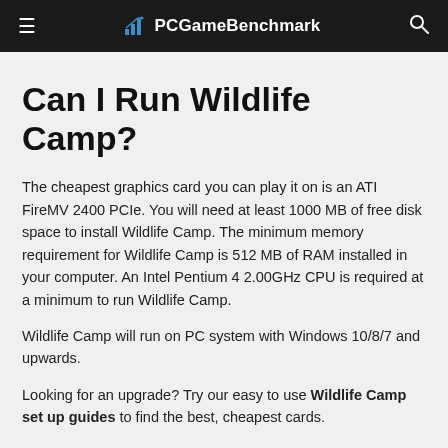PCGameBenchmark
Can I Run Wildlife Camp?
The cheapest graphics card you can play it on is an ATI FireMV 2400 PCIe. You will need at least 1000 MB of free disk space to install Wildlife Camp. The minimum memory requirement for Wildlife Camp is 512 MB of RAM installed in your computer. An Intel Pentium 4 2.00GHz CPU is required at a minimum to run Wildlife Camp.
Wildlife Camp will run on PC system with Windows 10/8/7 and upwards.
Looking for an upgrade? Try our easy to use Wildlife Camp set up guides to find the best, cheapest cards.